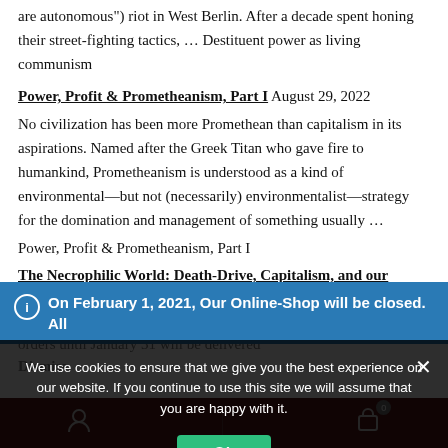are autonomous") riot in West Berlin. After a decade spent honing their street-fighting tactics, ... Destituent power as living communism
Power, Profit & Prometheanism, Part I August 29, 2022
No civilization has been more Promethean than capitalism in its aspirations. Named after the Greek Titan who gave fire to humankind, Prometheanism is understood as a kind of environmental—but not (necessarily) environmentalist—strategy for the domination and management of something usually ...
Power, Profit & Prometheanism, Part I
The Necrophilic World: Death-Drive, Capitalism, and our Posthuman Future August 29, 2022
On February 1, 2021, Our Online-Shop will be closed. All orders until January 31 will be delivered
Dismiss
We use cookies to ensure that we give you the best experience on our website. If you continue to use this site we will assume that you are happy with it.